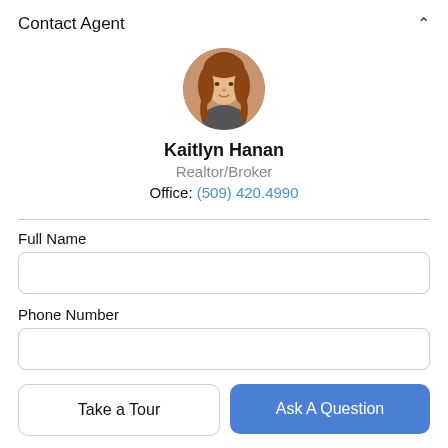Contact Agent
[Figure (photo): Circular profile photo of real estate agent Kaitlyn Hanan, a woman with shoulder-length auburn hair]
Kaitlyn Hanan
Realtor/Broker
Office: (509) 420.4990
Full Name
Phone Number
Take a Tour
Ask A Question